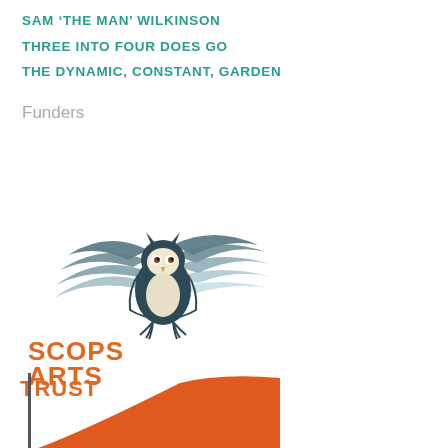SAM ‘THE MAN’ WILKINSON
THREE INTO FOUR DOES GO
THE DYNAMIC, CONSTANT, GARDEN
Funders
[Figure (logo): Scops Arts Trust logo: an owl with spread wings in dark teal/grey tones above orange bold text reading SCOPS ARTS TRUST]
[Figure (logo): Partial orange logo at bottom of page, showing a curved orange shape with a vertical dark line on the left edge]